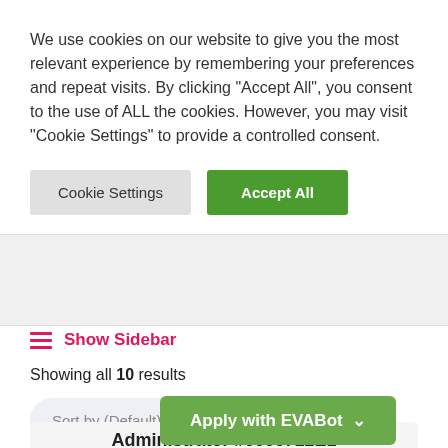We use cookies on our website to give you the most relevant experience by remembering your preferences and repeat visits. By clicking "Accept All", you consent to the use of ALL the cookies. However, you may visit "Cookie Settings" to provide a controlled consent.
Cookie Settings
Accept All
Show Sidebar
Showing all 10 results
Sort by (Default)
Apply with EVABot
Administrator #0006712E1